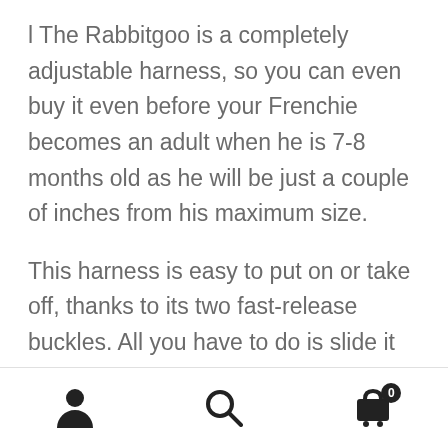l The Rabbitgoo is a completely adjustable harness, so you can even buy it even before your Frenchie becomes an adult when he is 7-8 months old as he will be just a couple of inches from his maximum size.
This harness is easy to put on or take off, thanks to its two fast-release buckles. All you have to do is slide it over your Frenchie's head, buckle it up, and finally adjust the straps.
All in all, this is the best harness that you can
[Figure (infographic): Bottom navigation bar with three icons: user/account icon on the left, search magnifying glass icon in the center, and a shopping cart icon with a badge showing 0 on the right.]